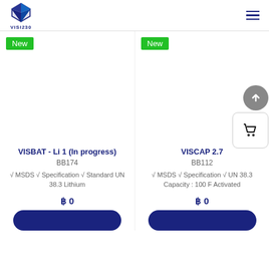VISI230 logo and navigation header
New
New
[Figure (other): Product image area for VISBAT - Li 1]
[Figure (other): Product image area for VISCAP 2.7 with shopping cart button]
VISBAT - Li 1 (In progress)
BB174
√ MSDS √ Specification √ Standard UN 38.3 Lithium
฿ 0
VISCAP 2.7
BB112
√ MSDS √ Specification √ UN 38.3 Capacity : 100 F Activated
฿ 0